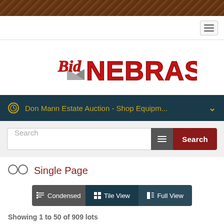[Figure (screenshot): Top brown wood-grain texture bar]
Navigation bar with hamburger menu icon
[Figure (logo): Bid Nebraska logo with red 3D text and grey triangle]
Don Mann Estate Auction - Shop Equipm...
Search
Single Page
Condensed  Tile View  Full View
Showing 1 to 50 of 909 lots
Lot 2001 | **IMPORTANT INFO!
Lot 2002 | BIDDING INFORMATION - Times